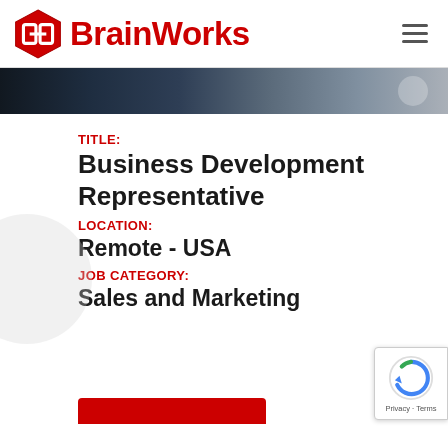BrainWorks
[Figure (photo): Dark banner/hero image with blurred background, dark blue-gray tones]
TITLE:
Business Development Representative
LOCATION:
Remote - USA
JOB CATEGORY:
Sales and Marketing